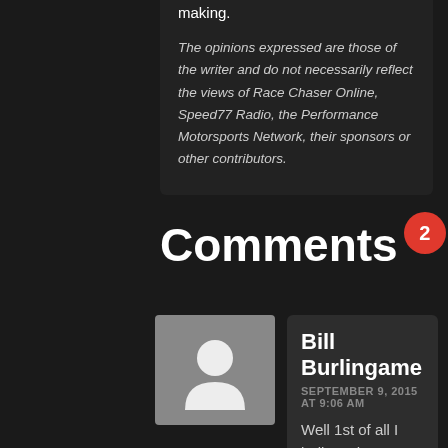making.
The opinions expressed are those of the writer and do not necessarily reflect the views of Race Chaser Online, Speed77 Radio, the Performance Motorsports Network, their sponsors or other contributors.
Comments 2
Bill Burlingame
SEPTEMBER 9, 2015 AT 9:06 AM
Well 1st of all I believe that Cuomo and Obama should